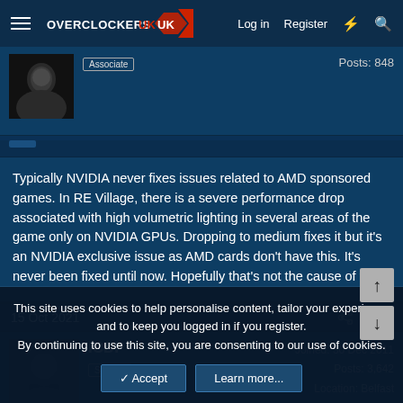OVERCLOCKERS UK — Log in  Register
Associate    Posts: 848
Typically NVIDIA never fixes issues related to AMD sponsored games. In RE Village, there is a severe performance drop associated with high volumetric lighting in several areas of the game only on NVIDIA GPUs. Dropping to medium fixes it but it's an NVIDIA exclusive issue as AMD cards don't have this. It's never been fixed until now. Hopefully that's not the cause of this.
15 Oct 2021  #800
ICDP  Soldato  Joined: 30 Dec 2011  Posts: 3,642  Location: Belfast
This site uses cookies to help personalise content, tailor your experience and to keep you logged in if you register.
By continuing to use this site, you are consenting to our use of cookies.